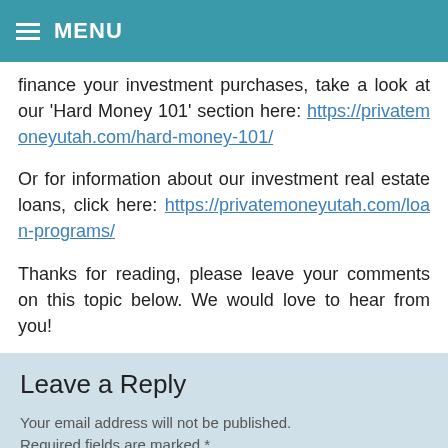MENU
finance your investment purchases, take a look at our 'Hard Money 101' section here: https://privatemoneyutah.com/hard-money-101/
Or for information about our investment real estate loans, click here: https://privatemoneyutah.com/loan-programs/
Thanks for reading, please leave your comments on this topic below. We would love to hear from you!
Leave a Reply
Your email address will not be published. Required fields are marked *
Comment *